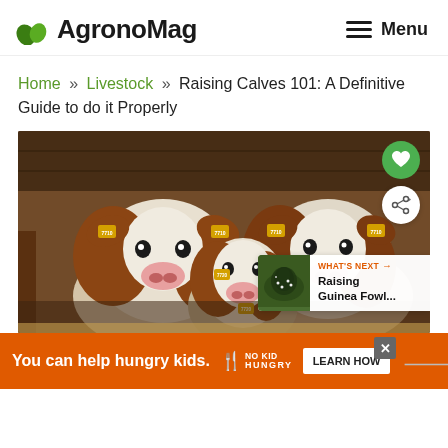AgronoMag — Menu
Home » Livestock » Raising Calves 101: A Definitive Guide to do it Properly
[Figure (photo): Three brown-and-white calves in a barn, each with yellow ear tags numbered 7210, 7210, 7210, facing the camera. Overlaid with heart button, share button, and a 'WHAT'S NEXT → Raising Guinea Fowl...' panel.]
You can help hungry kids. NO KID HUNGRY LEARN HOW